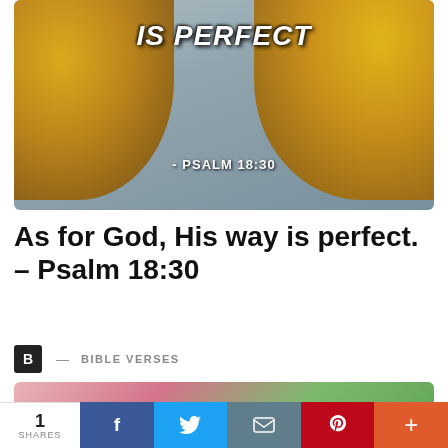[Figure (photo): Autumn leaves image with text overlay 'IS PERFECT' and '- PSALM 18:30' on a misty grey background]
As for God, His way is perfect. – Psalm 18:30
B — BIBLE VERSES
[Figure (photo): Blurred flowers background with bold text overlay 'BE A BLESSING TO']
1 SHARES | f | tweet | email | pinterest | +